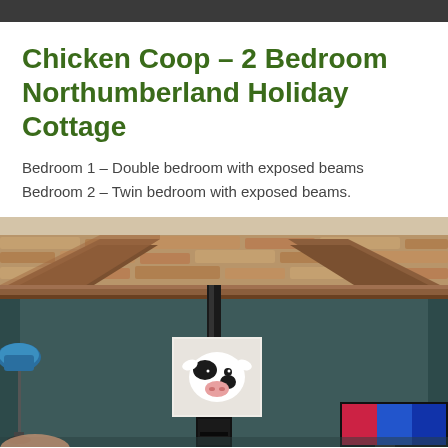Chicken Coop – 2 Bedroom Northumberland Holiday Cottage
Bedroom 1 – Double bedroom with exposed beams
Bedroom 2 – Twin bedroom with exposed beams.
[Figure (photo): Interior photo of a cottage room showing exposed wooden beams, stone wall, dark teal/grey painted walls, a cow portrait painting on the wall, a blue floor lamp on the left, a black wood-burning stove in the center, and a TV on the right.]